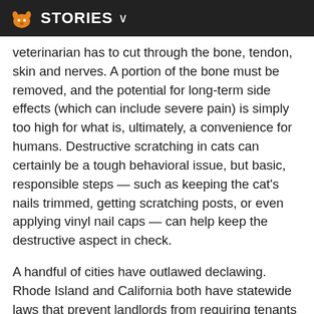STORIES
veterinarian has to cut through the bone, tendon, skin and nerves. A portion of the bone must be removed, and the potential for long-term side effects (which can include severe pain) is simply too high for what is, ultimately, a convenience for humans. Destructive scratching in cats can certainly be a tough behavioral issue, but basic, responsible steps — such as keeping the cat's nails trimmed, getting scratching posts, or even applying vinyl nail caps — can help keep the destructive aspect in check.
A handful of cities have outlawed declawing. Rhode Island and California both have statewide laws that prevent landlords from requiring tenants to declaw their cats. But